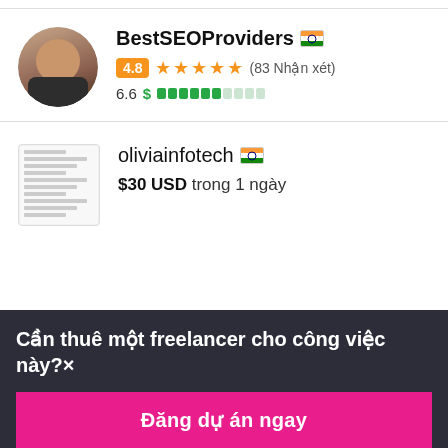[Figure (photo): Profile photo of a woman, used as avatar for BestSEOProviders]
BestSEOProviders 🇮🇳
4.8 ★★★★★ (83 Nhận xét)
6.6 $ [progress bar]
[Figure (screenshot): Thumbnail document preview for oliviainfotech]
oliviainfotech 🇮🇳
$30 USD trong 1 ngày
Cần thuê một freelancer cho công việc này? ×
Đăng dự án ngay